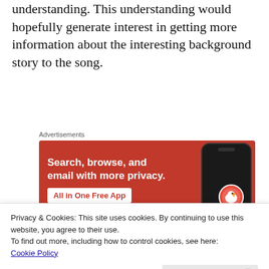understanding. This understanding would hopefully generate interest in getting more information about the interesting background story to the song.
[Figure (other): DuckDuckGo advertisement banner with orange background showing 'Search, browse, and email with more privacy. All in One Free App' with a smartphone image and duck logo.]
In a song like this one, the focus on bottom-up
Privacy & Cookies: This site uses cookies. By continuing to use this website, you agree to their use.
To find out more, including how to control cookies, see here:
Cookie Policy
Close and accept